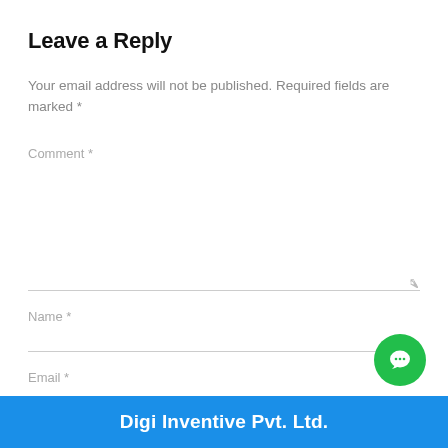Leave a Reply
Your email address will not be published. Required fields are marked *
Comment *
Name *
Email *
Digi Inventive Pvt. Ltd.